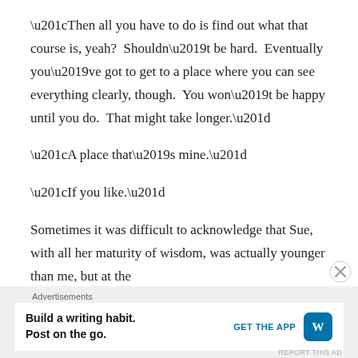“Then all you have to do is find out what that course is, yeah?  Shouldn’t be hard.  Eventually you’ve got to get to a place where you can see everything clearly, though.  You won’t be happy until you do.  That might take longer.”
“A place that’s mine.”
“If you like.”
Sometimes it was difficult to acknowledge that Sue, with all her maturity of wisdom, was actually younger than me, but at the
Advertisements
Build a writing habit. Post on the go. GET THE APP